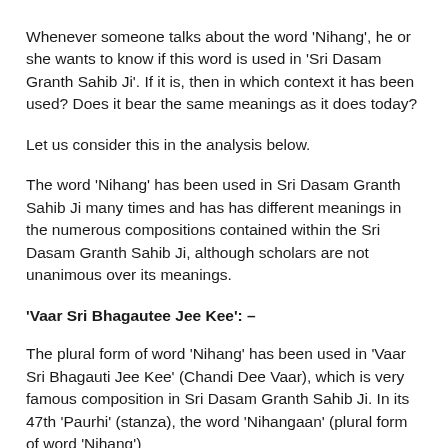Whenever someone talks about the word 'Nihang', he or she wants to know if this word is used in 'Sri Dasam Granth Sahib Ji'. If it is, then in which context it has been used? Does it bear the same meanings as it does today?
Let us consider this in the analysis below.
The word 'Nihang' has been used in Sri Dasam Granth Sahib Ji many times and has has different meanings in the numerous compositions contained within the Sri Dasam Granth Sahib Ji, although scholars are not unanimous over its meanings.
'Vaar Sri Bhagautee Jee Kee': –
The plural form of word 'Nihang' has been used in 'Vaar Sri Bhagauti Jee Kee' (Chandi Dee Vaar), which is very famous composition in Sri Dasam Granth Sahib Ji. In its 47th 'Paurhi' (stanza), the word 'Nihangaan' (plural form of word 'Nihang')